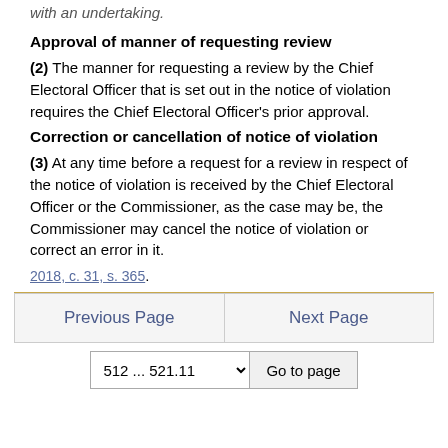with an undertaking.
Approval of manner of requesting review
(2) The manner for requesting a review by the Chief Electoral Officer that is set out in the notice of violation requires the Chief Electoral Officer's prior approval.
Correction or cancellation of notice of violation
(3) At any time before a request for a review in respect of the notice of violation is received by the Chief Electoral Officer or the Commissioner, as the case may be, the Commissioner may cancel the notice of violation or correct an error in it.
2018, c. 31, s. 365.
Previous Page | Next Page | 512 ... 521.11 | Go to page